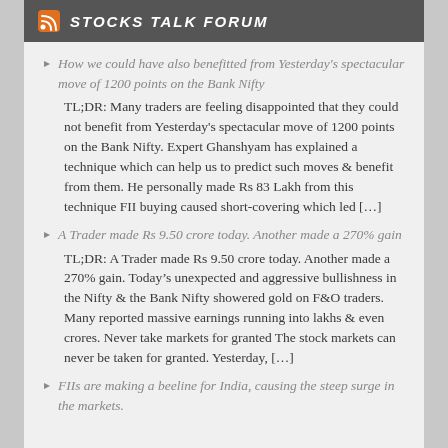STOCKS TALK FORUM
How we could have also benefitted from Yesterday's spectacular move of 1200 points on the Bank Nifty
TL;DR: Many traders are feeling disappointed that they could not benefit from Yesterday's spectacular move of 1200 points on the Bank Nifty. Expert Ghanshyam has explained a technique which can help us to predict such moves & benefit from them. He personally made Rs 83 Lakh from this technique FII buying caused short-covering which led […]
A Trader made Rs 9.50 crore today. Another made a 270% gain
TL;DR: A Trader made Rs 9.50 crore today. Another made a 270% gain. Today's unexpected and aggressive bullishness in the Nifty & the Bank Nifty showered gold on F&O traders. Many reported massive earnings running into lakhs & even crores. Never take markets for granted The stock markets can never be taken for granted. Yesterday, […]
FIIs are making a beeline for India, causing the steep surge in the markets.